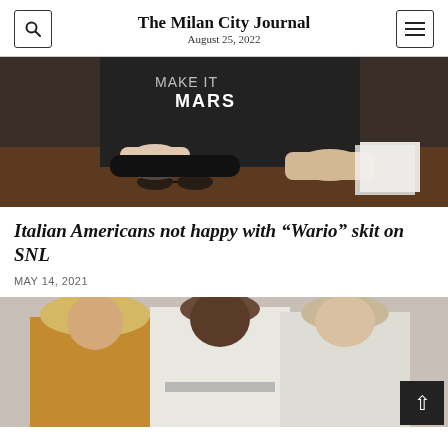The Milan City Journal
August 25, 2022
[Figure (photo): Close-up photo of a person wearing a black Mars t-shirt, hands resting on a dark wooden table with papers]
Italian Americans not happy with “Wario” skit on SNL
MAY 14, 2021
[Figure (photo): Photo of three people standing together, one wearing a tan/mustard outfit, two wearing white outfits, with a back-to-top button in the corner]